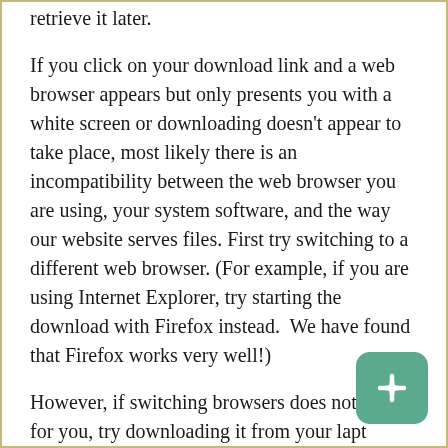retrieve it later.
If you click on your download link and a web browser appears but only presents you with a white screen or downloading doesn't appear to take place, most likely there is an incompatibility between the web browser you are using, your system software, and the way our website serves files. First try switching to a different web browser. (For example, if you are using Internet Explorer, try starting the download with Firefox instead.  We have found that Firefox works very well!)
However, if switching browsers does not work for you, try downloading it from your laptop or desktop computer rather than an iPad or mobile device. This usually resolves the issue.